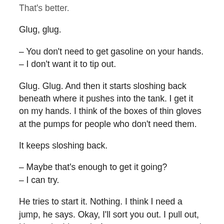That's better.
Glug, glug.
– You don't need to get gasoline on your hands.
– I don't want it to tip out.
Glug. Glug. And then it starts sloshing back beneath where it pushes into the tank. I get it on my hands. I think of the boxes of thin gloves at the pumps for people who don't need them.
It keeps sloshing back.
– Maybe that's enough to get it going?
– I can try.
He tries to start it. Nothing. I think I need a jump, he says. Okay, I'll sort you out. I pull out, U-turn, double-park. A young woman stops and starts talking to him. I get out. It's just great to see people helping each other out this way, she says, especially… and it trails off. I feel very white when she says this. She's very much on her phone. I wonder if she's planning to put it on Instagram as some